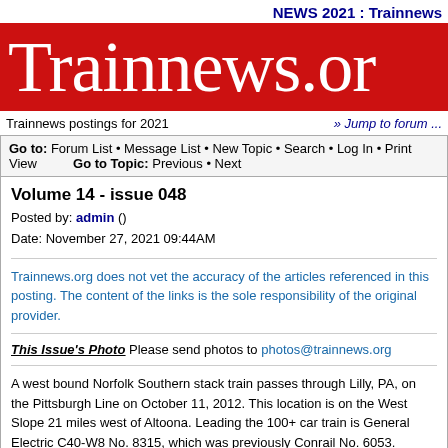NEWS 2021 :  Trainnews
[Figure (illustration): Red banner with white serif text reading 'Trainnews.org' (partially cut off)]
Trainnews postings for 2021	» Jump to forum ...
Go to: Forum List • Message List • New Topic • Search • Log In • Print View   Go to Topic: Previous • Next
Volume 14 - issue 048
Posted by: admin ()
Date: November 27, 2021 09:44AM
Trainnews.org does not vet the accuracy of the articles referenced in this posting. The content of the links is the sole responsibility of the original provider.
This Issue's Photo Please send photos to photos@trainnews.org
A west bound Norfolk Southern stack train passes through Lilly, PA, on the Pittsburgh Line on October 11, 2012. This location is on the West Slope 21 miles west of Altoona. Leading the 100+ car train is General Electric C40-W8 No. 8315, which was previously Conrail No. 6053.